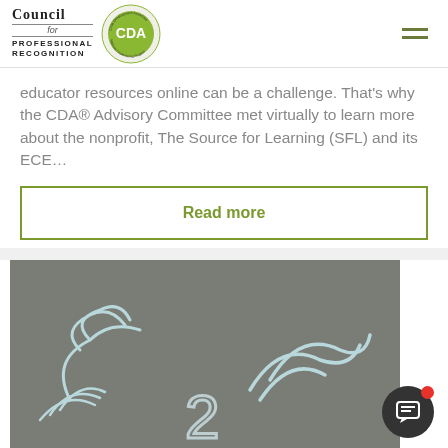[Figure (logo): Council for Professional Recognition logo with CDA green circle badge]
educator resources online can be a challenge. That's why the CDA® Advisory Committee met virtually to learn more about the nonprofit, The Source for Learning (SFL) and its ECE…
Read more
[Figure (photo): Close-up photo of chalk drawings on pavement/concrete in light blue on grey background, showing abstract figures and numbers]